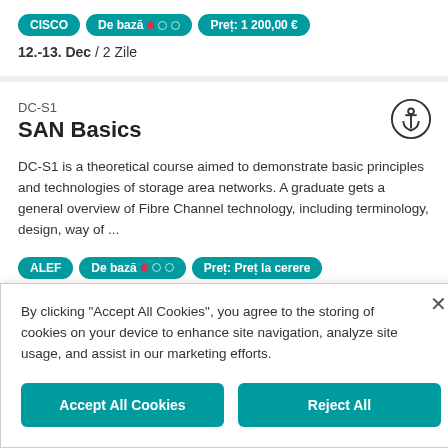CISCO | De bază ●●● | Preț: 1 200,00 €
12.-13. Dec / 2 Zile
DC-S1
SAN Basics
DC-S1 is a theoretical course aimed to demonstrate basic principles and technologies of storage area networks. A graduate gets a general overview of Fibre Channel technology, including terminology, design, way of ...
ALEF | De bază ●●● | Preț: Preț la cerere
1 Zi
By clicking "Accept All Cookies", you agree to the storing of cookies on your device to enhance site navigation, analyze site usage, and assist in our marketing efforts.
Accept All Cookies
Reject All